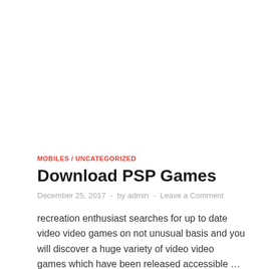MOBILES / UNCATEGORIZED
Download PSP Games
December 25, 2017  -  by admin  -  Leave a Comment
recreation enthusiast searches for up to date video video games on not unusual basis and you will discover a huge variety of video video games which have been released accessible …